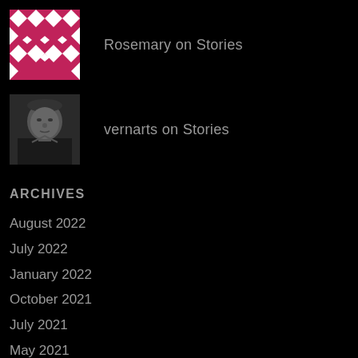[Figure (illustration): Pink and white geometric patterned avatar (quilt-like design)]
Rosemary on Stories
[Figure (photo): Black and white photo of an older man]
vernarts on Stories
ARCHIVES
August 2022
July 2022
January 2022
October 2021
July 2021
May 2021
April 2021
March 2021
December 2020